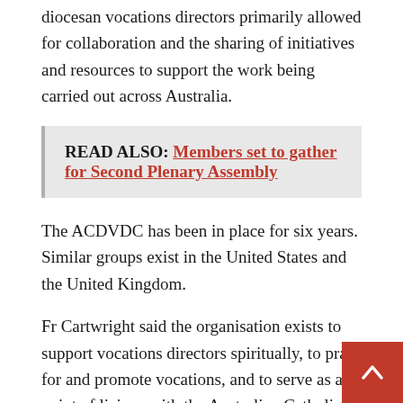diocesan vocations directors primarily allowed for collaboration and the sharing of initiatives and resources to support the work being carried out across Australia.
READ ALSO: Members set to gather for Second Plenary Assembly
The ACDVDC has been in place for six years. Similar groups exist in the United States and the United Kingdom.
Fr Cartwright said the organisation exists to support vocations directors spiritually, to pray for and promote vocations, and to serve as a point of liaison with the Australian Catholic Bishops Conference.
“It is a platform for the sharing of resources across the